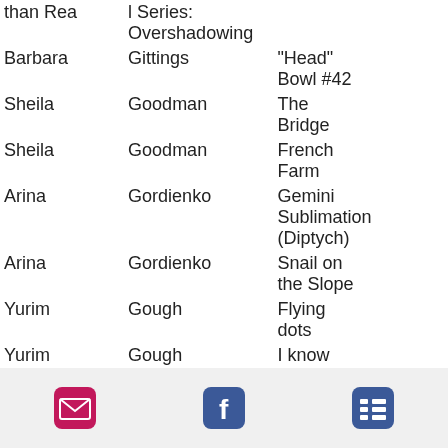| First | Last | Title |
| --- | --- | --- |
| than Rea | l Series: Overshadowing |  |
| Barbara | Gittings | "Head" Bowl #42 |
| Sheila | Goodman | The Bridge |
| Sheila | Goodman | French Farm |
| Arina | Gordienko | Gemini Sublimation (Diptych) |
| Arina | Gordienko | Snail on the Slope |
| Yurim | Gough | Flying dots |
| Yurim | Gough | I know what you are thinking |
| Yurim | Gough | Do you? Why? |
| Cheryl | Gould | She Sells Seashells |
| Cheryl | Gould | Dos |
[Figure (other): Mobile app footer bar with email icon (pink/red envelope), Facebook icon (blue f), and menu/list icon (blue grid)]